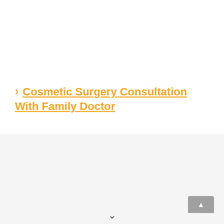Cosmetic Surgery Consultation With Family Doctor